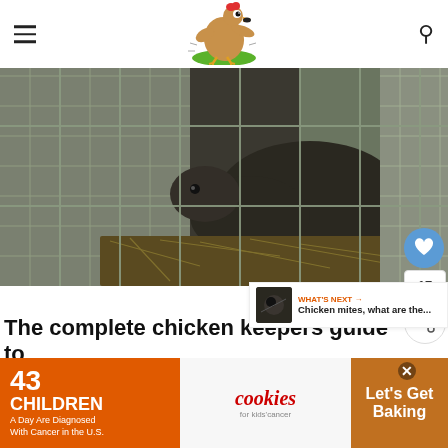[Figure (photo): A dark rodent (rat/possum) caught inside a wire mesh live trap, surrounded by straw or hay.]
[Figure (logo): Cartoon chicken logo - a funny running chicken illustration on green oval]
The complete chicken keepers guide to
WHAT'S NEXT → Chicken mites, what are the...
[Figure (photo): Thumbnail of chicken mites article]
43 CHILDREN A Day Are Diagnosed With Cancer in the U.S.